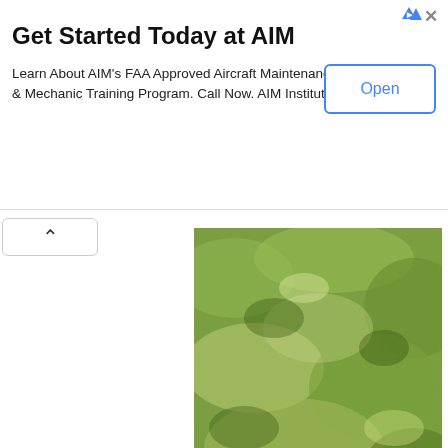[Figure (infographic): Advertisement banner for AIM Institute. Title: 'Get Started Today at AIM'. Body: 'Learn About AIM's FAA Approved Aircraft Maintenance & Mechanic Training Program. Call Now. AIM Institute'. An 'Open' button on the right. Ad icons (triangle and X) in top right corner.]
[Figure (photo): Close-up photo of green grass with watermark '©wag doll' in bottom right corner.]
This site uses cookies from Google to deliver its services and to analyze traffic. Your IP address and user-agent are shared with Google along with performance and security metrics to ensure quality of service, generate usage statistics, and to detect and address abuse.
LEARN MORE    OK